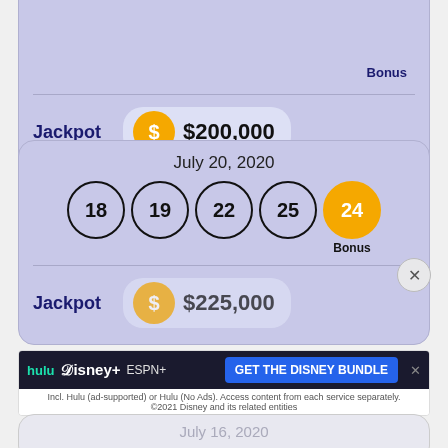[Figure (infographic): Top partial lottery card showing Jackpot $200,000 with dollar sign circle icon]
[Figure (infographic): Lottery card for July 20, 2020 with balls 18, 19, 22, 25 and Bonus 24, Jackpot $225,000]
[Figure (infographic): Disney Bundle advertisement banner with hulu, Disney+, ESPN+ logos and GET THE DISNEY BUNDLE CTA]
[Figure (infographic): Partial bottom card showing July 16, 2020 date in muted text]